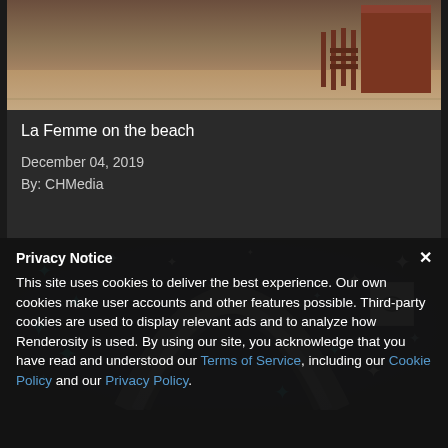[Figure (photo): Beach scene with sandy shore and dark wooden beach hut/cabin structure on the right, reddish-brown fencing]
La Femme on the beach
December 04, 2019
By: CHMedia
[Figure (photo): Space/night sky scene with glowing blue and white stars and a large gray crescent or ring planet arc in the center]
Privacy Notice
This site uses cookies to deliver the best experience. Our own cookies make user accounts and other features possible. Third-party cookies are used to display relevant ads and to analyze how Renderosity is used. By using our site, you acknowledge that you have read and understood our Terms of Service, including our Cookie Policy and our Privacy Policy.